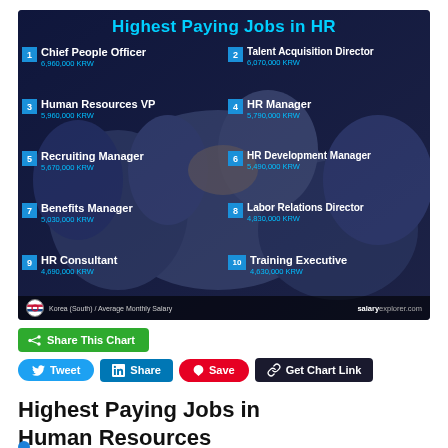[Figure (infographic): Infographic showing Highest Paying Jobs in HR in Korea (South) with average monthly salaries in KRW. Lists 10 jobs: 1. Chief People Officer 6,960,000 KRW, 2. Talent Acquisition Director 6,070,000 KRW, 3. Human Resources VP 5,960,000 KRW, 4. HR Manager 5,790,000 KRW, 5. Recruiting Manager 5,670,000 KRW, 6. HR Development Manager 5,490,000 KRW, 7. Benefits Manager 5,030,000 KRW, 8. Labor Relations Director 4,830,000 KRW, 9. HR Consultant 4,690,000 KRW, 10. Training Executive 4,630,000 KRW. Source: salaryexplorer.com]
Share This Chart
Tweet
Share
Save
Get Chart Link
Highest Paying Jobs in Human Resources